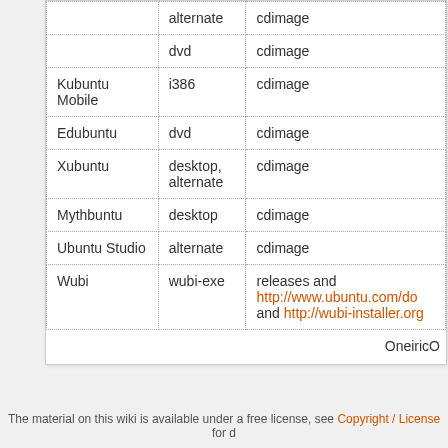|  | alternate | cdimage |
| --- | --- | --- |
|  | dvd | cdimage |
| Kubuntu Mobile | i386 | cdimage |
| Edubuntu | dvd | cdimage |
| Xubuntu | desktop, alternate | cdimage |
| Mythbuntu | desktop | cdimage |
| Ubuntu Studio | alternate | cdimage |
| Wubi | wubi-exe | releases and http://www.ubuntu.com/do... and http://wubi-installer.org... |
OneiricO
The material on this wiki is available under a free license, see Copyright / License for d...